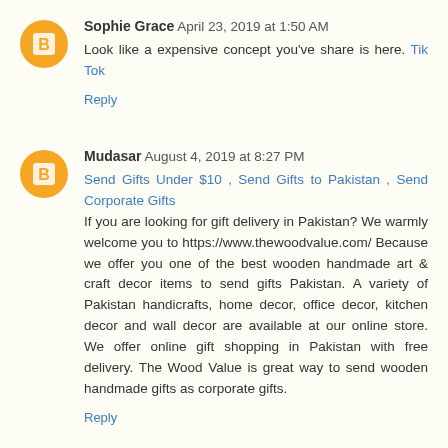Sophie Grace  April 23, 2019 at 1:50 AM
Look like a expensive concept you've share is here. Tik Tok
Reply
Mudasar  August 4, 2019 at 8:27 PM
Send Gifts Under $10 , Send Gifts to Pakistan , Send Corporate Gifts
If you are looking for gift delivery in Pakistan? We warmly welcome you to https://www.thewoodvalue.com/ Because we offer you one of the best wooden handmade art & craft decor items to send gifts Pakistan. A variety of Pakistan handicrafts, home decor, office decor, kitchen decor and wall decor are available at our online store. We offer online gift shopping in Pakistan with free delivery. The Wood Value is great way to send wooden handmade gifts as corporate gifts.
Reply